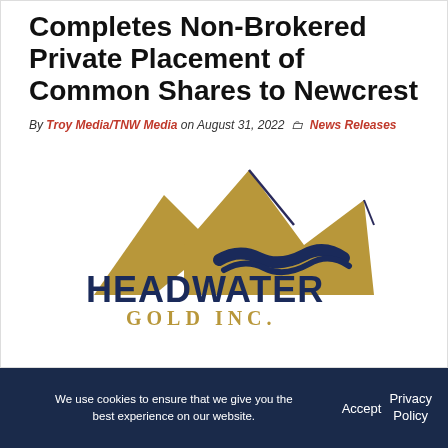Headwater Gold Completes Non-Brokered Private Placement of Common Shares to Newcrest
By Troy Media/TNW Media on August 31, 2022 News Releases
[Figure (logo): Headwater Gold Inc. logo — gold mountain peaks with a dark blue river/stream, and text HEADWATER in dark navy bold, GOLD INC. in gold/tan serif below]
We use cookies to ensure that we give you the best experience on our website. Accept Privacy Policy